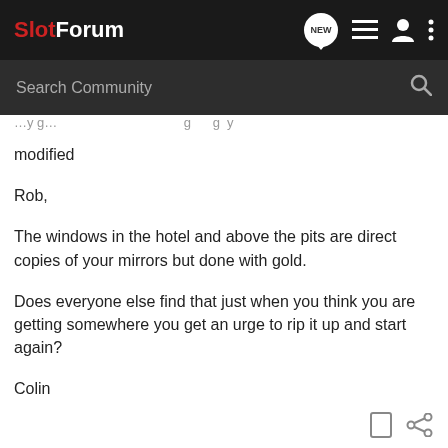SlotForum
modified
Rob,
The windows in the hotel and above the pits are direct copies of your mirrors but done with gold.
Does everyone else find that just when you think you are getting somewhere you get an urge to rip it up and start again?
Colin